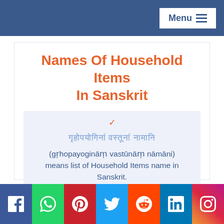Menu
Names Of Household Items In Sanskrit
✓ गृहोपयोगिनां वस्तूनां नामानि (gṛhopayogināṃ vastūnāṃ nāmāni) means list of Household Items name in Sanskrit.